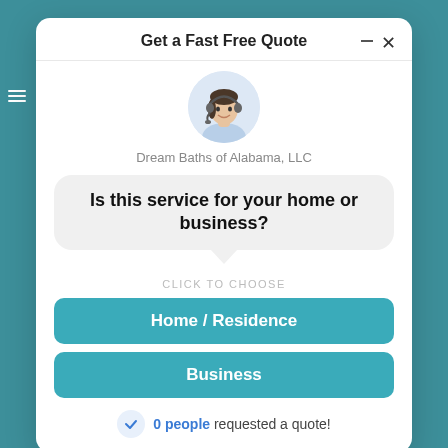Get a Fast Free Quote
[Figure (illustration): Avatar of a female customer service representative wearing a headset, shown from shoulders up in a circular crop]
Dream Baths of Alabama, LLC
Is this service for your home or business?
CLICK TO CHOOSE
Home / Residence
Business
0 people requested a quote!